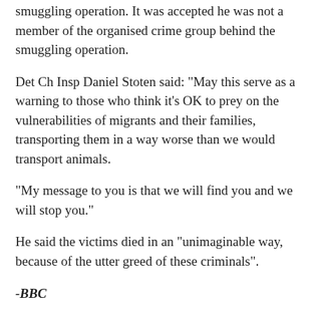smuggling operation. It was accepted he was not a member of the organised crime group behind the smuggling operation.
Det Ch Insp Daniel Stoten said: "May this serve as a warning to those who think it's OK to prey on the vulnerabilities of migrants and their families, transporting them in a way worse than we would transport animals.
"My message to you is that we will find you and we will stop you."
He said the victims died in an "unimaginable way, because of the utter greed of these criminals".
-BBC